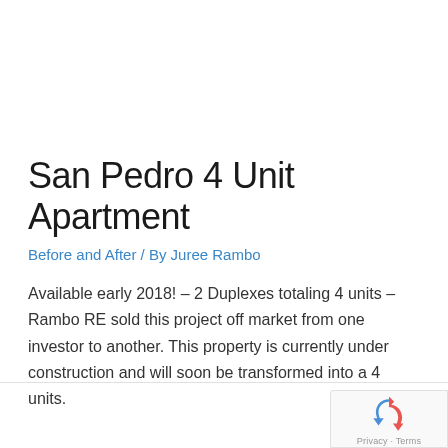San Pedro 4 Unit Apartment
Before and After / By Juree Rambo
Available early 2018! – 2 Duplexes totaling 4 units – Rambo RE sold this project off market from one investor to another. This property is currently under construction and will soon be transformed into a 4 units.
[Figure (logo): reCAPTCHA badge with Privacy and Terms links]